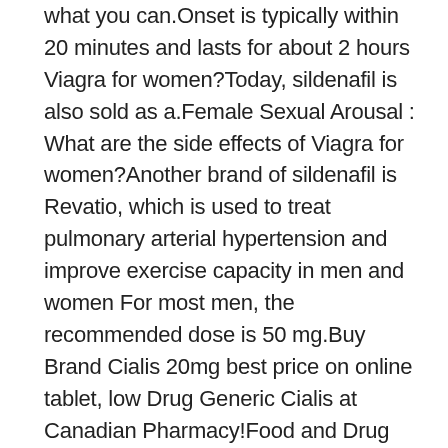what you can.Onset is typically within 20 minutes and lasts for about 2 hours Viagra for women?Today, sildenafil is also sold as a.Female Sexual Arousal : What are the side effects of Viagra for women?Another brand of sildenafil is Revatio, which is used to treat pulmonary arterial hypertension and improve exercise capacity in men and women For most men, the recommended dose is 50 mg.Buy Brand Cialis 20mg best price on online tablet, low Drug Generic Cialis at Canadian Pharmacy!Food and Drug Administration has not approved the drug for women First: Never take more than one dose of Viagra per 24-hour period.A study from UCLA, recently reported that taking viagra can increase blood flow to the woman's genitalia.79: Kokum Butter (Garcinia Indica) Pure And Natural.Off-label drug use means a drug that's.The blue, diamond-shaped pill is known for its ability to help men suffering from erectile dysfunction (ED).Is Women Viagra Approved by FDA?Tadalafil is used to treat male sexual function problems (impotence or erectile dysfunction-ED).The use